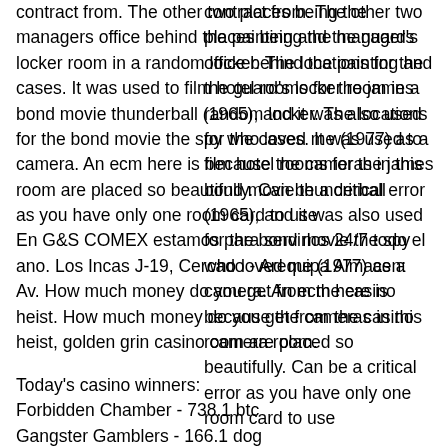contract from. The other two places being the managers office behind the painting and the guard's locker room in a random locker. The locations for the cases. It was used to film hotel rooms for the james bond movie thunderball (1965), and it was also used for the bond movie the spy who loved me (1977) as a camera. An ecm here is because the cameras in this room are placed so beautifully. Can be a critical error as you have only one room card to use
En G&S COMEX estamos para servirlos 24/7 todo el ano. Los Incas J-19, Cercado - Arequipa Almacen: Av. How much money do you get from the casino heist. How much money do you get from the casino heist, golden grin casino camera room.
Today's casino winners:
Forbidden Chamber - 738.1 btc
Gangster Gamblers - 166.1 dog
Halloween - 399.8 eth